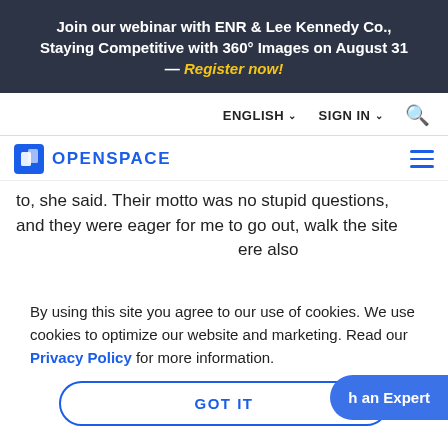Join our webinar with ENR & Lee Kennedy Co., Staying Competitive with 360° Images on August 31 — Register now!
ENGLISH ∨   SIGN IN ∨   🔍
OPENSPACE
to,  she said.  Their motto was  no stupid questions, and they were eager for me to go out, walk the site ... here also ... ng
By using this site you agree to our use of cookies. We use cookies to optimize our website and marketing. Read our Privacy Policy for more information.
GOT IT
h an Expert